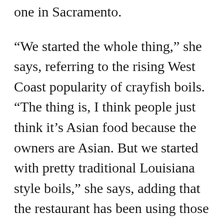one in Sacramento.
“We started the whole thing,” she says, referring to the rising West Coast popularity of crayfish boils. “The thing is, I think people just think it’s Asian food because the owners are Asian. But we started with pretty traditional Louisiana style boils,” she says, adding that the restaurant has been using those same signature recipes for over a decade.
The distinctions between Asian and Cajun are so minimal as to be